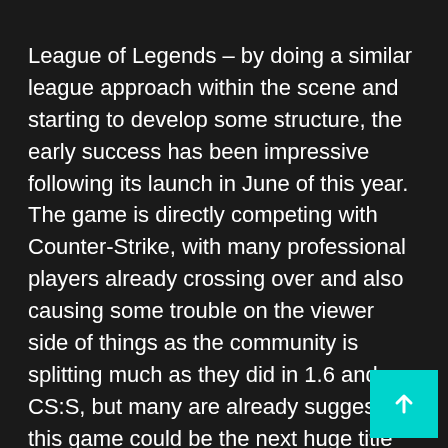League of Legends – by doing a similar league approach within the scene and starting to develop some structure, the early success has been impressive following its launch in June of this year. The game is directly competing with Counter-Strike, with many professional players already crossing over and also causing some trouble on the viewer side of things as the community is splitting much as they did in 1.6 and CS:S, but many are already suggesting this game could be the next huge title and overtake those that came before.
There are a growing number of smaller scenes within esports too that are getting bigger by the day – with Call of Duty recently announcing a move away from console into the PC space, this scene could be another strong competitor. Games such as Rocket League have also